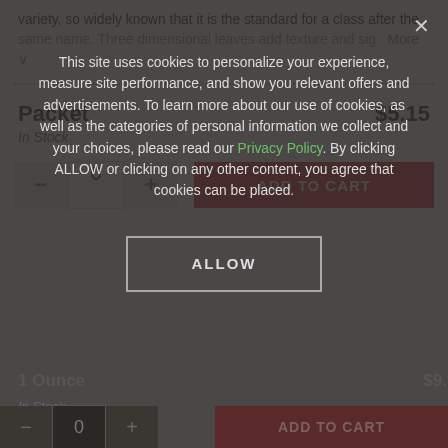variety, so widely known that it is the standard for a class after the same name. Three dimensional leaves add texture and sig  More
Packet    $5.15
In Stock
[Figure (screenshot): Quantity selector with minus button, 0 input, plus button, and red ADD TO CART button]
This site uses cookies to personalize your experience, measure site performance, and show you relevant offers and advertisements. To learn more about our use of cookies, as well as the categories of personal information we collect and your choices, please read our Privacy Policy. By clicking ALLOW or clicking on any other content, you agree that cookies can be placed.
1 Ounce    $9.95
In Stock
ALLOW